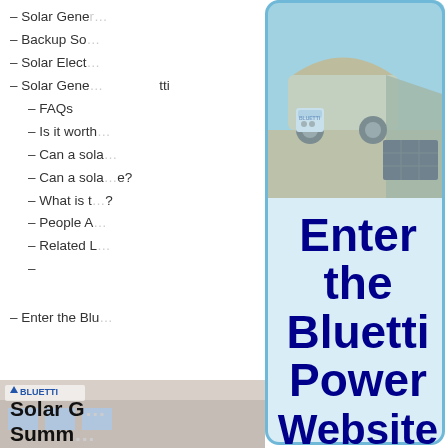– Solar Gener…
– Backup So…
– Solar Elect…
– Solar Gene…tti
– FAQs
– Is it worth…
– Can a sola…
– Can a sola…e?
– What is t…?
– People A…
– Related L…
–
– Enter the Blu…
[Figure (photo): Camping scene with a 4WD vehicle with rooftop tent, an awning shelter, a Bluetti portable power station, and a solar panel on sandy terrain at dusk.]
[Figure (infographic): Blue overlay card with text 'Enter the Bluetti Power Website' in large dark blue bold font on light blue background.]
Solar G… Summ…
[Figure (photo): Bottom strip showing Bluetti-branded building exterior with logo.]